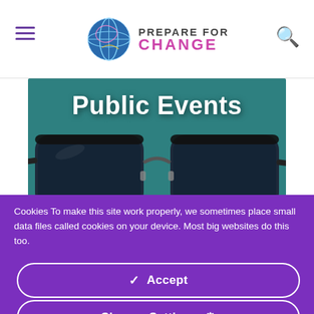Prepare for Change — website header with hamburger menu, logo, and search icon
[Figure (screenshot): Hero image with teal background showing close-up of glasses with text 'Public Events' overlaid in large bold white font]
Cookies To make this site work properly, we sometimes place small data files called cookies on your device. Most big websites do this too.
✓ Accept
Change Settings ⚙